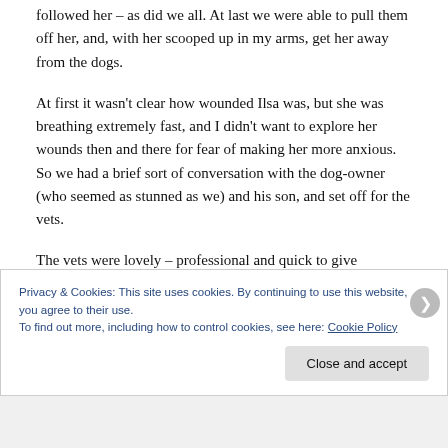followed her – as did we all. At last we were able to pull them off her, and, with her scooped up in my arms, get her away from the dogs.
At first it wasn't clear how wounded Ilsa was, but she was breathing extremely fast, and I didn't want to explore her wounds then and there for fear of making her more anxious.  So we had a brief sort of conversation with the dog-owner (who seemed as stunned as we) and his son, and set off for the vets.
The vets were lovely – professional and quick to give immediate treatment.  It transpired that Ilsa had
Privacy & Cookies: This site uses cookies. By continuing to use this website, you agree to their use.
To find out more, including how to control cookies, see here: Cookie Policy
Close and accept